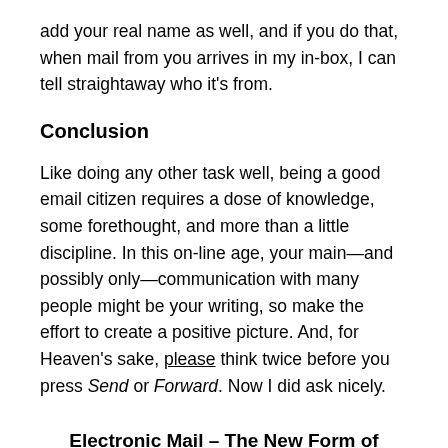add your real name as well, and if you do that, when mail from you arrives in my in-box, I can tell straightaway who it's from.
Conclusion
Like doing any other task well, being a good email citizen requires a dose of knowledge, some forethought, and more than a little discipline. In this on-line age, your main—and possibly only—communication with many people might be your writing, so make the effort to create a positive picture. And, for Heaven's sake, please think twice before you press Send or Forward. Now I did ask nicely.
Electronic Mail – The New Form of (Mis)Communication
[In 1995, I took an entry-level university course in English